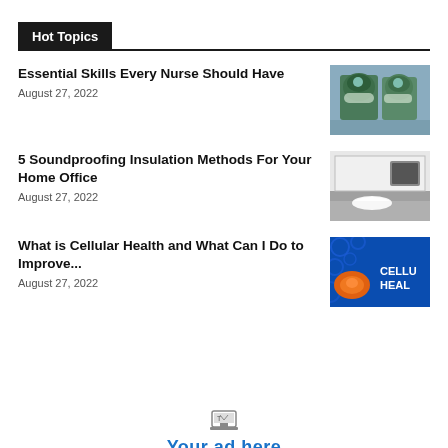Hot Topics
Essential Skills Every Nurse Should Have
August 27, 2022
[Figure (photo): Two medical professionals in surgical masks and caps in an operating room]
5 Soundproofing Insulation Methods For Your Home Office
August 27, 2022
[Figure (photo): A home office room with soundproofing materials on floor]
What is Cellular Health and What Can I Do to Improve...
August 27, 2022
[Figure (photo): Cellular health graphic with orange cells and blue background with text CELLULAR HEALTH]
Your ad here